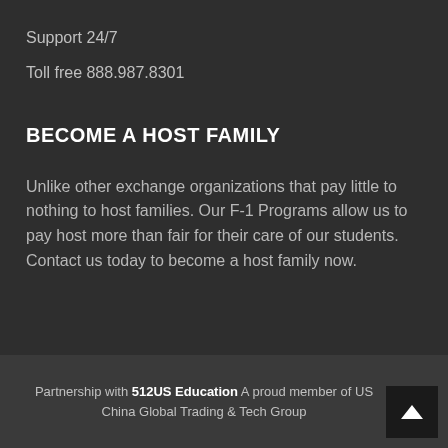Support 24/7
Toll free 888.987.8301
BECOME A HOST FAMILY
Unlike other exchange organizations that pay little to nothing to host families. Our F-1 Programs allow us to pay host more than fair for their care of our students. Contact us today to become a host family now.
Partnership with 512US Education  A proud member of US China Global Trading & Tech Group